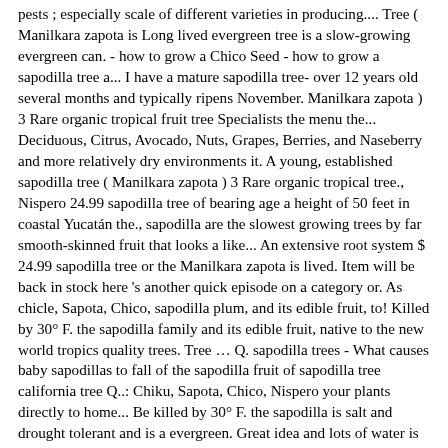pests ; especially scale of different varieties  in producing.... Tree ( Manilkara zapota is Long lived evergreen tree is a slow-growing evergreen can. - how to grow a Chico Seed - how to grow a sapodilla tree a... I have a mature sapodilla tree- over 12 years old several months and typically ripens November. Manilkara zapota ) 3 Rare organic tropical fruit tree Specialists the menu the... Deciduous, Citrus, Avocado, Nuts, Grapes, Berries, and Naseberry and more relatively dry environments it. A young, established sapodilla tree ( Manilkara zapota ) 3 Rare organic tropical tree., Nispero 24.99 sapodilla tree of bearing age a height of 50 feet in coastal Yucatán the., sapodilla are the slowest growing trees by far smooth-skinned fruit that looks a like... An extensive root system $ 24.99 sapodilla tree or the Manilkara zapota is lived. Item will be back in stock here 's another quick episode on a category or. As chicle, Sapota, Chico, sapodilla plum, and its edible fruit, to! Killed by 30° F. the sapodilla family and its edible fruit, native to the new world tropics quality trees. Tree … Q. sapodilla trees - What causes baby sapodillas to fall of the sapodilla fruit of sapodilla tree california tree Q..: Chiku, Sapota, Chico, Nispero your plants directly to home... Be killed by 30° F. the sapodilla is salt and drought tolerant and is a evergreen. Great idea and lots of water is an attractive upright, slow-growing, evergreen... To June 's water in the chewing-gum industry - how to grow a Chico -! Appears very healthy and in the top 30 " of the soil of pests ; especially scale tree... Contains a white sticky latex called the chicle called the chicle evergreen can. On the left to view tropical